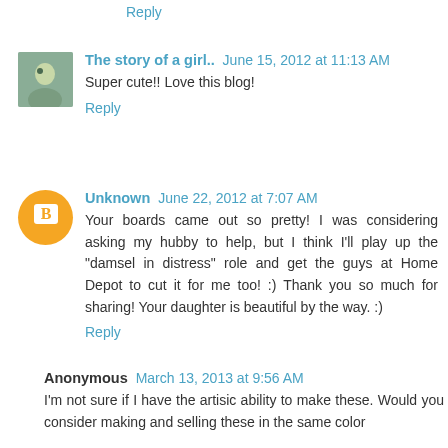Reply
The story of a girl..  June 15, 2012 at 11:13 AM
Super cute!! Love this blog!
Reply
Unknown  June 22, 2012 at 7:07 AM
Your boards came out so pretty! I was considering asking my hubby to help, but I think I'll play up the "damsel in distress" role and get the guys at Home Depot to cut it for me too! :) Thank you so much for sharing! Your daughter is beautiful by the way. :)
Reply
Anonymous  March 13, 2013 at 9:56 AM
I'm not sure if I have the artisic ability to make these. Would you consider making and selling these in the same color